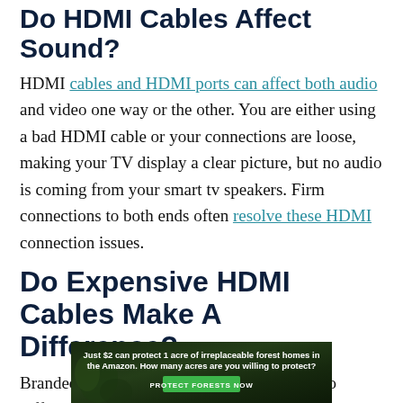Do HDMI Cables Affect Sound?
HDMI cables and HDMI ports can affect both audio and video one way or the other. You are either using a bad HDMI cable or your connections are loose, making your TV display a clear picture, but no audio is coming from your smart tv speakers. Firm connections to both ends often resolve these HDMI connection issues.
Do Expensive HDMI Cables Make A Difference?
Branded or none branded HDMI cables are no different and won't change or make the difference you hope to get from a premium-priced cable. Nonetheless,
[Figure (infographic): Advertisement banner: Just $2 can protect 1 acre of irreplaceable forest homes in the Amazon. How many acres are you willing to protect? PROTECT FORESTS NOW button]